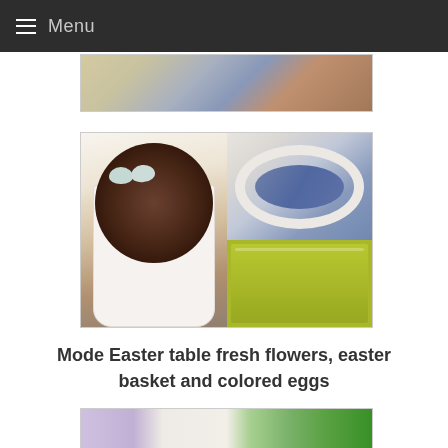Menu
[Figure (photo): Partial top photo showing table setting with patterned blue and white china and wicker/woven surface]
[Figure (photo): Composite photo: left half shows a bird's nest with two pale blue eggs inside a white teacup on a doily; right half top shows blue-and-white china pattern, right half bottom shows olive/yellow-green decorative plate or bowl edge]
Mode Easter table fresh flowers, easter basket and colored eggs
[Figure (photo): Partial bottom photo showing Easter arrangement with lavender flowers and green plants/clovers]